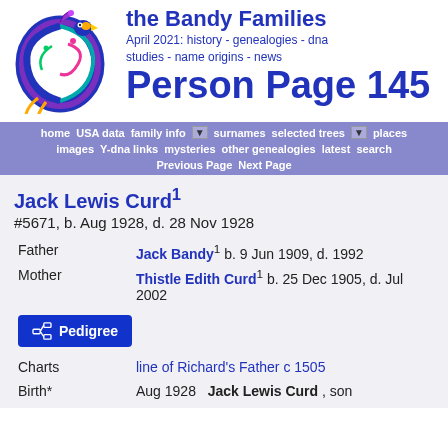the Bandy Families
April 2021: history - genealogies - dna studies - name origins - news
Person Page 145
Person Page 145
home | USA data | family info | surnames | selected trees | places | images | Y-dna links | mysteries | other genealogies | latest | search | Previous Page | Next Page
Jack Lewis Curd
#5671, b. Aug 1928, d. 28 Nov 1928
| Role | Person | Details |
| --- | --- | --- |
| Father | Jack Bandy | b. 9 Jun 1909, d. 1992 |
| Mother | Thistle Edith Curd | b. 25 Dec 1905, d. Jul 2002 |
| Charts | line of Richard's Father c 1505 |  |
| Birth* | Aug 1928 | Jack Lewis Curd , son |